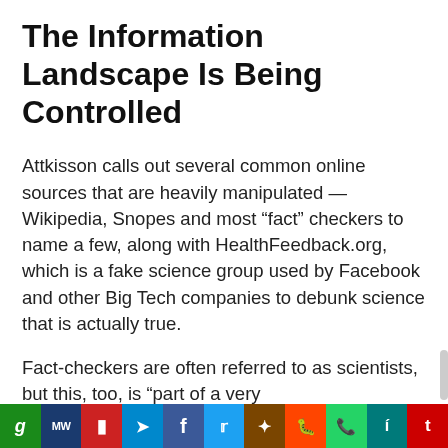The Information Landscape Is Being Controlled
Attkisson calls out several common online sources that are heavily manipulated — Wikipedia, Snopes and most “fact” checkers to name a few, along with HealthFeedback.org, which is a fake science group used by Facebook and other Big Tech companies to debunk science that is actually true.
Fact-checkers are often referred to as scientists, but this, too, is “part of a very